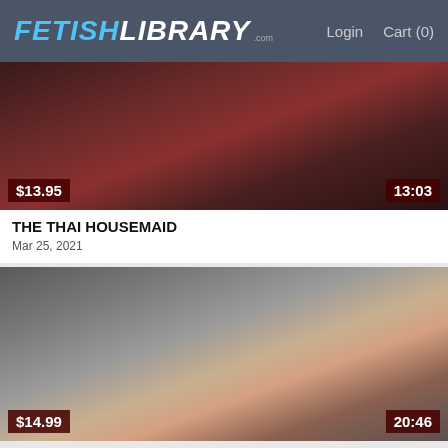FETISH LIBRARY .com  Login  Cart (0)
[Figure (photo): Video thumbnail for The Thai Housemaid showing two people on a red couch, one in fishnet stockings]
$13.95
13:03
THE THAI HOUSEMAID
Mar 25, 2021
[Figure (photo): Video thumbnail showing a woman with purple hair in a red dress on a bed with a yellow paddle]
$14.99
20:46